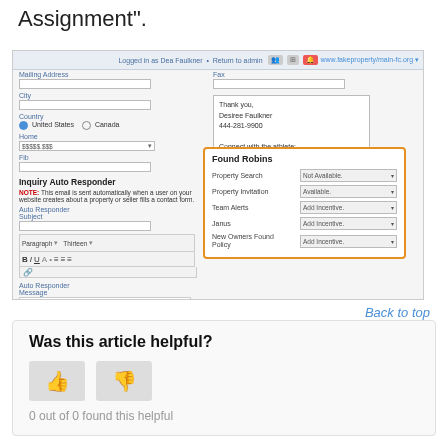Assignment".
[Figure (screenshot): A web application admin settings screenshot showing form fields (Mailing Address, City, Country radio buttons, Home, Fax fields on left; Fax, Email Signature on right with thank-you message). An orange-bordered popup labeled 'Found Robins' overlays the form with dropdowns: Property Search (Not Available), Property Invitation (Available), Team Alerts (Add Incentive), Janus (Add Incentive), New Owners Found Policy (Add Incentive). Below the popup is an Inquiry Auto Responder section with a text editor area.]
Back to top
Was this article helpful?
0 out of 0 found this helpful